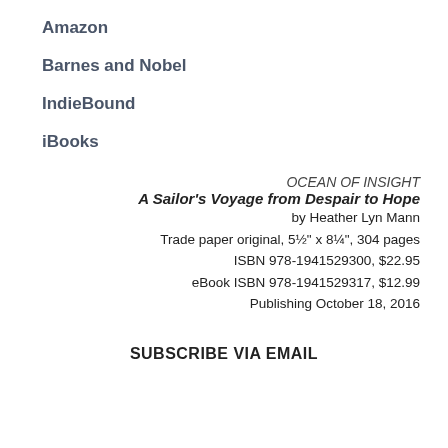Amazon
Barnes and Nobel
IndieBound
iBooks
OCEAN OF INSIGHT
A Sailor's Voyage from Despair to Hope
by Heather Lyn Mann
Trade paper original, 5½" x 8¼", 304 pages
ISBN 978-1941529300, $22.95
eBook ISBN 978-1941529317, $12.99
Publishing October 18, 2016
SUBSCRIBE VIA EMAIL